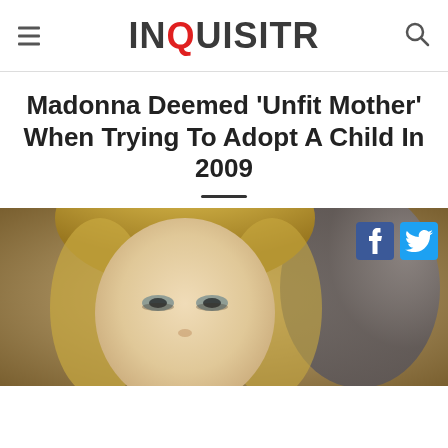INQUISITR
Madonna Deemed 'Unfit Mother' When Trying To Adopt A Child In 2009
[Figure (photo): Close-up photo of a blonde woman (Madonna) looking at the camera, with another person visible in the background. Facebook and Twitter share buttons overlay the top-right of the image.]